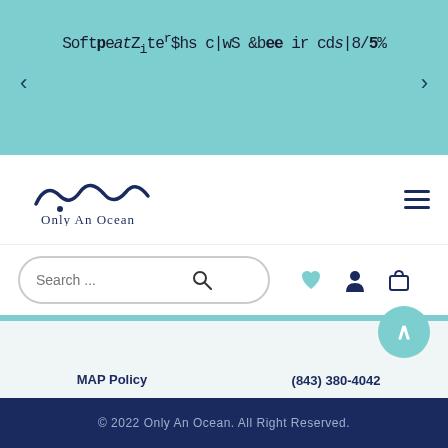[Figure (screenshot): Teal banner with overlapping glitched text reading 'Soft per Zite r Shs c|wS & bee ir cds|8 / 5 %' with navigation arrows on each side]
[Figure (logo): Only An Ocean logo with wave script mark above the text 'Only An Ocean' in navy blue]
[Figure (screenshot): Search bar with rounded border containing placeholder 'Search ...' and a magnifying glass icon, followed by heart, person, and shopping bag icons]
MAP Policy
Terms & Conditions
(843) 380-4042
divein@onlyanoce
© 2022 Only An Ocean. All Right Reserved.